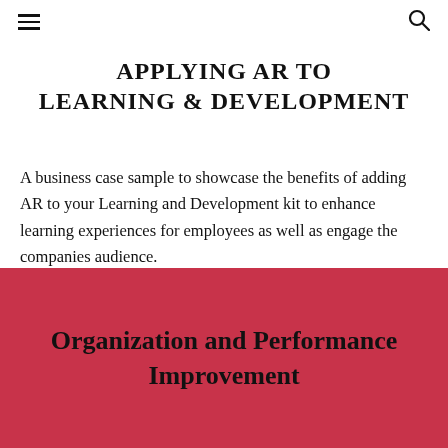≡  🔍
APPLYING AR TO LEARNING & DEVELOPMENT
A business case sample to showcase the benefits of adding AR to your Learning and Development kit to enhance learning experiences for employees as well as engage the companies audience.
Organization and Performance Improvement